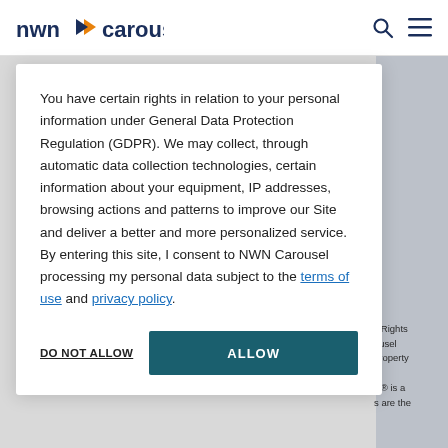nwn carousel
You have certain rights in relation to your personal information under General Data Protection Regulation (GDPR). We may collect, through automatic data collection technologies, certain information about your equipment, IP addresses, browsing actions and patterns to improve our Site and deliver a better and more personalized service. By entering this site, I consent to NWN Carousel processing my personal data subject to the terms of use and privacy policy.
DO NOT ALLOW   ALLOW